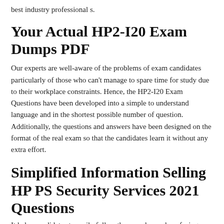best industry professional s.
Your Actual HP2-I20 Exam Dumps PDF
Our experts are well-aware of the problems of exam candidates particularly of those who can't manage to spare time for study due to their workplace constraints. Hence, the HP2-I20 Exam Questions have been developed into a simple to understand language and in the shortest possible number of question. Additionally, the questions and answers have been designed on the format of the real exam so that the candidates learn it without any extra effort.
Simplified Information Selling HP PS Security Services 2021 Questions
It helps candidates to easily follow the complex and confusing HP2-I20 Exam content. Questions with the